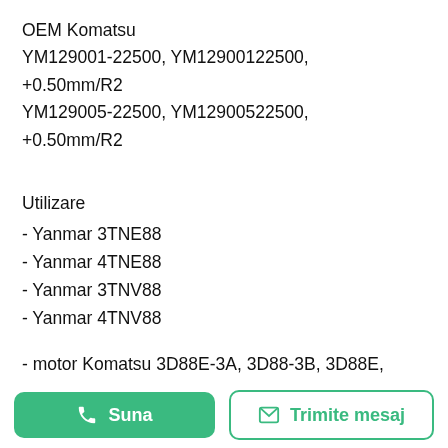OEM Komatsu YM129001-22500, YM12900122500, +0.50mm/R2 YM129005-22500, YM12900522500, +0.50mm/R2
Utilizare
- Yanmar 3TNE88
- Yanmar 4TNE88
- Yanmar 3TNV88
- Yanmar 4TNV88
- motor Komatsu 3D88E-3A, 3D88-3B, 3D88E, 3D88
- KOMATSU PC40FR-1, PC40FR-2 Mini Excavator